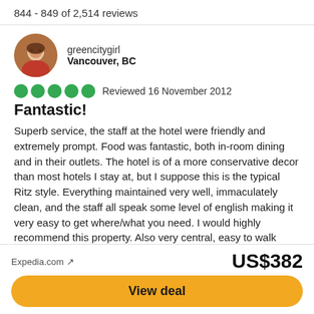844 - 849 of 2,514 reviews
greencitygirl
Vancouver, BC
Reviewed 16 November 2012
Fantastic!
Superb service, the staff at the hotel were friendly and extremely prompt. Food was fantastic, both in-room dining and in their outlets. The hotel is of a more conservative decor than most hotels I stay at, but I suppose this is the typical Ritz style. Everything maintained very well, immaculately clean, and the staff all speak some level of english making it very easy to get where/what you need. I would highly recommend this property. Also very central, easy to walk anywhere, or to a metro station.
Date of stay: October 2012
Expedia.com ↗
US$382
View deal